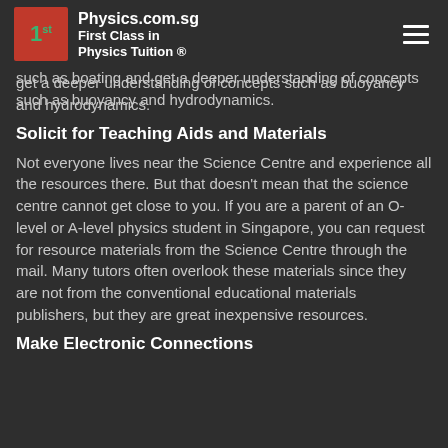Physics.com.sg First Class in Physics Tuition ®
physics tuition. An outreach activity such as an energy of your neighbourhood can help you understand concepts in physics. You can also engage in creative outdoor outreach activities such as boating and get a deeper understanding of concepts such as buoyancy and hydrodynamics.
Solicit for Teaching Aids and Materials
Not everyone lives near the Science Centre and experience all the resources there. But that doesn't mean that the science centre cannot get close to you. If you are a parent of an O-level or A-level physics student in Singapore, you can request for resource materials from the Science Centre through the mail. Many tutors often overlook these materials since they are not from the conventional educational materials publishers, but they are great inexpensive resources.
Make Electronic Connections